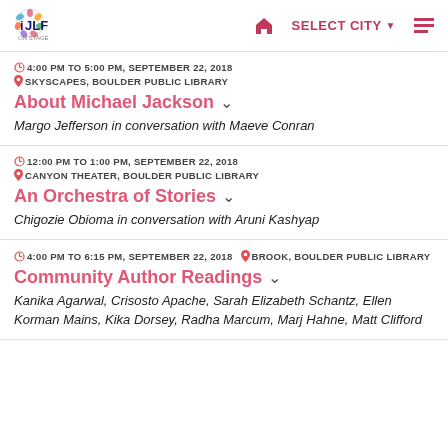JLF on Stage logo | Home | SELECT CITY | Menu
4:00 PM TO 5:00 PM, SEPTEMBER 22, 2018 | SKYSCAPES, BOULDER PUBLIC LIBRARY | About Michael Jackson | Margo Jefferson in conversation with Maeve Conran
12:00 PM TO 1:00 PM, SEPTEMBER 22, 2018 | CANYON THEATER, BOULDER PUBLIC LIBRARY | An Orchestra of Stories | Chigozie Obioma in conversation with Aruni Kashyap
4:00 PM TO 6:15 PM, SEPTEMBER 22, 2018 | BROOK, BOULDER PUBLIC LIBRARY | Community Author Readings | Kanika Agarwal, Crisosto Apache, Sarah Elizabeth Schantz, Ellen Korman Mains, Kika Dorsey, Radha Marcum, Marj Hahne, Matt Clifford